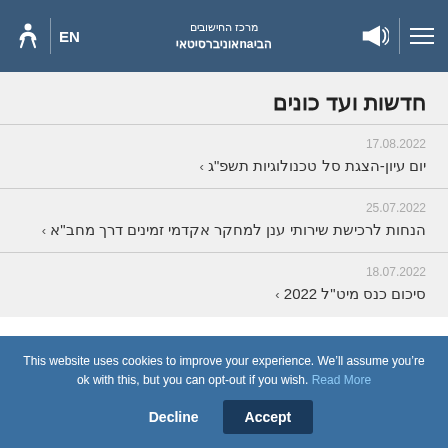מרכז החישובים הביnaאוניברסיטאי | EN
חדשות ועד כונים
17.08.2022 — יום עיון-הצגת סל טכנולוגיות תשפ"ג ›
25.07.2022 — הנחות לרכישת שירותי ענן למחקר אקדמי זמינים דרך מחב"א ›
18.07.2022 — סיכום כנס מיט"ל 2022 ›
This website uses cookies to improve your experience. We'll assume you're ok with this, but you can opt-out if you wish. Read More